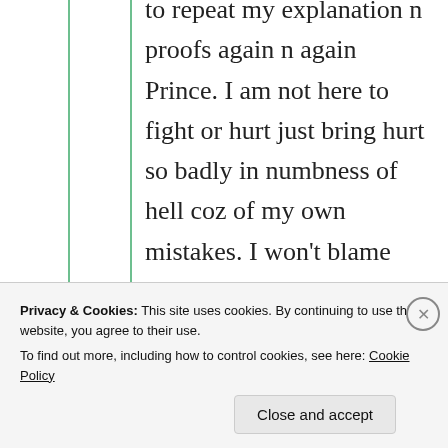to repeat my explanation n proofs again n again Prince. I am not here to fight or hurt just bring hurt so badly in numbness of hell coz of my own mistakes. I won't blame anyone. You can assume n speak whatever you want but Its my sincere request. Kindly
Privacy & Cookies: This site uses cookies. By continuing to use this website, you agree to their use. To find out more, including how to control cookies, see here: Cookie Policy
Close and accept